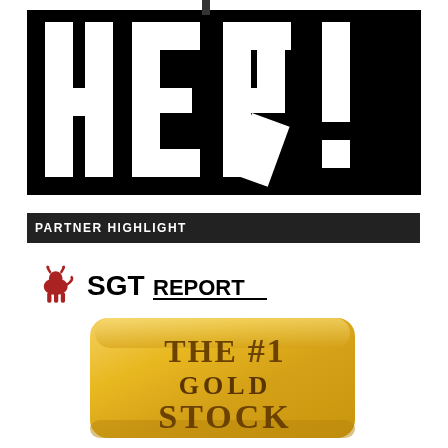[Figure (illustration): Large bold stylized text 'HERE!' in black block letters with cutout/stencil effect on white background, inside a black rectangular border]
PARTNER HIGHLIGHT
[Figure (logo): SGT Report logo: red bull icon on the left, bold black text 'SGT' followed by 'REPORT' with underline]
[Figure (illustration): Gold bar image with text 'THE #1 GOLD STOCK' printed on it in brown/dark gold serif letters]